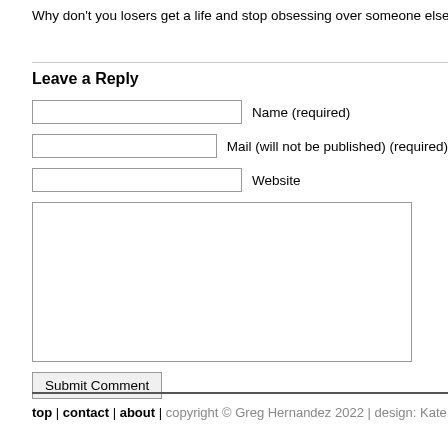Why don’t you losers get a life and stop obsessing over someone elses.
Leave a Reply
Name (required)
Mail (will not be published) (required)
Website
Submit Comment
top | contact | about | copyright © Greg Hernandez 2022 | design: Kate an